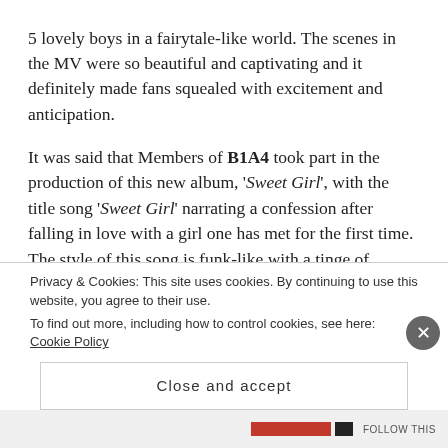5 lovely boys in a fairytale-like world. The scenes in the MV were so beautiful and captivating and it definitely made fans squealed with excitement and anticipation.
It was said that Members of B1A4 took part in the production of this new album, 'Sweet Girl', with the title song 'Sweet Girl' narrating a confession after falling in love with a girl one has met for the first time. The style of this song is funk-like with a tinge of sweetness and gentleness. Even before this song was released, it was voted by Koreans youths (aged
Privacy & Cookies: This site uses cookies. By continuing to use this website, you agree to their use.
To find out more, including how to control cookies, see here: Cookie Policy
Close and accept